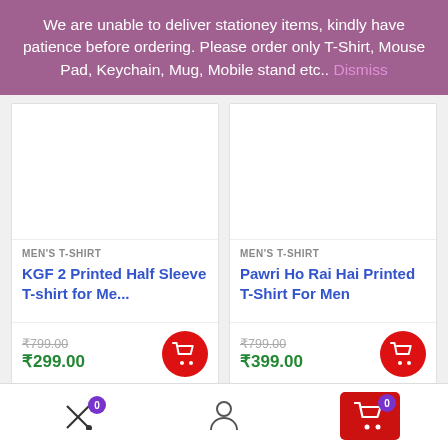We are unable to deliver stationey items, kindly have patience before ordering. Please order only T-Shirt, Mouse Pad, Keychain, Mug, Mobile stand etc.. Dismiss
MEN'S T-SHIRT
KGF 2 Printed Half Sleeve T-shirt for Me...
₹799.00
₹299.00
MEN'S T-SHIRT
Pawri Ho Rai Hai Printed T-Shirt For Men
₹799.00
₹399.00
Sale!